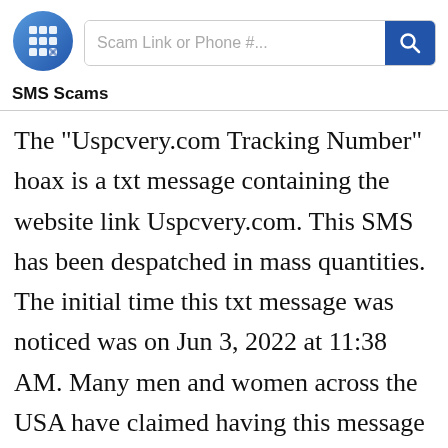[Figure (logo): SMS Scams website logo: a blue circle with a grid/phone icon]
SMS Scams
The "Uspcvery.com Tracking Number" hoax is a txt message containing the website link Uspcvery.com. This SMS has been despatched in mass quantities. The initial time this txt message was noticed was on Jun 3, 2022 at 11:38 AM. Many men and women across the USA have claimed having this message delivered on their mobile phones. This web-site has discussed below all the important information you may need to confirm you and your personal